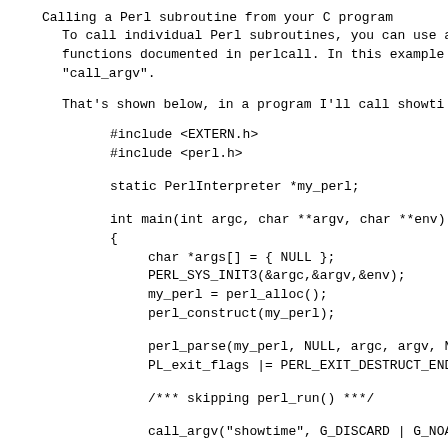Calling a Perl subroutine from your C program
To call individual Perl subroutines, you can use a
functions documented in perlcall.  In this example
"call_argv".
That's shown below, in a program I'll call showti
#include <EXTERN.h>
#include <perl.h>

static PerlInterpreter *my_perl;

int main(int argc, char **argv, char **env)
{
    char *args[] = { NULL };
    PERL_SYS_INIT3(&argc,&argv,&env);
    my_perl = perl_alloc();
    perl_construct(my_perl);

    perl_parse(my_perl, NULL, argc, argv, NULL
    PL_exit_flags |= PERL_EXIT_DESTRUCT_END;

    /*** skipping perl_run() ***/

    call_argv("showtime", G_DISCARD | G_NOARGS

    perl_destruct(my_perl);
    perl_free(my_perl);
    PERL_SYS_TERM();
}